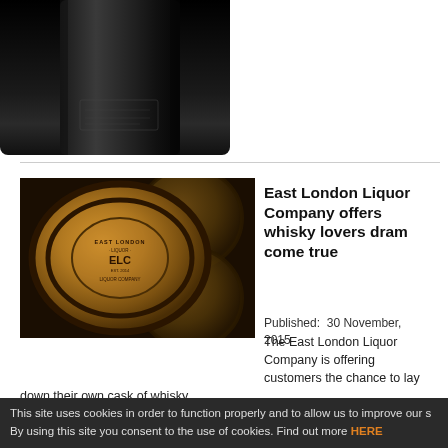[Figure (photo): Bottom portion of a dark black bottle against white background]
[Figure (photo): Wooden whisky barrels stacked in a warehouse, front barrel shows East London Liquor Company branding]
East London Liquor Company offers whisky lovers dram come true
Published:  30 November, 2015
The East London Liquor Company is offering customers the chance to lay down their own cask of whisky.
Read more...
This site uses cookies in order to function properly and to allow us to improve our s By using this site you consent to the use of cookies. Find out more HERE